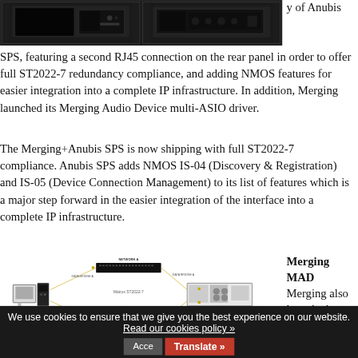[Figure (screenshot): Top strip showing two device screenshots/renders of the Anubis SPS hardware, shown side by side against dark background]
y of Anubis SPS, featuring a second RJ45 connection on the rear panel in order to offer full ST2022-7 redundancy compliance, and adding NMOS features for easier integration into a complete IP infrastructure. In addition, Merging launched its Merging Audio Device multi-ASIO driver.
The Merging+Anubis SPS is now shipping with full ST2022-7 compliance. Anubis SPS adds NMOS IS-04 (Discovery & Registration) and IS-05 (Device Connection Management) to its list of features which is a major step forward in the easier integration of the interface into a complete IP infrastructure.
[Figure (engineering-diagram): Network diagram showing ASIO with ST2022-7 computer connected to Network A and Network B switches, with ANUBIS SPS (ST2022-7 mode) device on the right, illustrating ST2022-7 redundancy connection topology]
Merging MAD
Merging also launched
We use cookies to ensure that we give you the best experience on our website. Read our cookies policy » Acce   Translate »